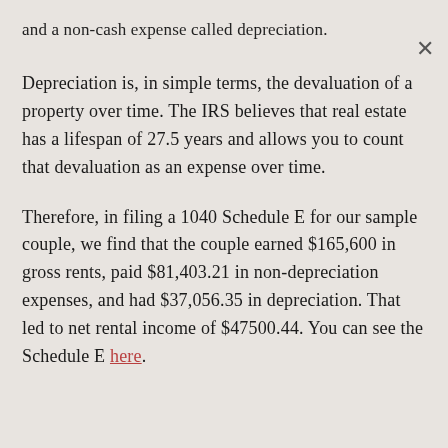and a non-cash expense called depreciation.
Depreciation is, in simple terms, the devaluation of a property over time. The IRS believes that real estate has a lifespan of 27.5 years and allows you to count that devaluation as an expense over time.
Therefore, in filing a 1040 Schedule E for our sample couple, we find that the couple earned $165,600 in gross rents, paid $81,403.21 in non-depreciation expenses, and had $37,056.35 in depreciation. That led to net rental income of $47500.44. You can see the Schedule E here.